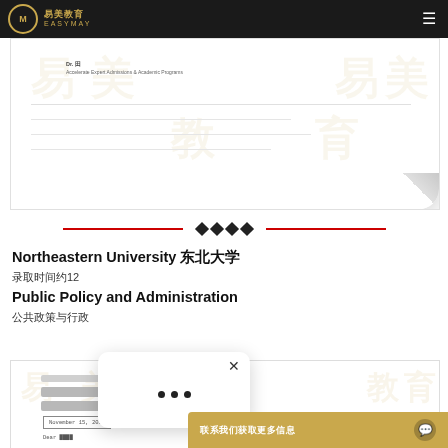易美教育 EASYMAY
[Figure (photo): Document image with watermark and folded corner]
[Figure (illustration): Decorative divider with four black diamonds and red horizontal lines]
Northeastern University 东北大学
录取时间约12
Public Policy and Administration
公共政策与行政
[Figure (photo): Document image with watermark, date box, and modal popup overlay]
联系我们获取更多信息